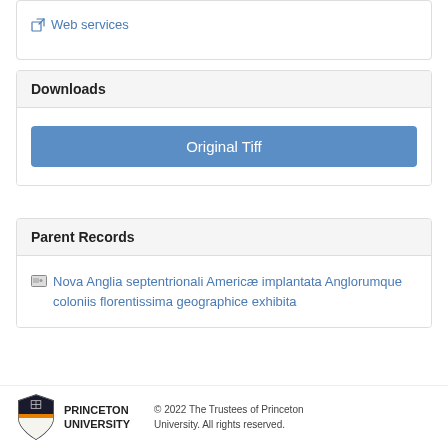🔗 Web services
Downloads
Original Tiff
Parent Records
Nova Anglia septentrionali Americæ implantata Anglorumque coloniis florentissima geographice exhibita
© 2022 The Trustees of Princeton University. All rights reserved.